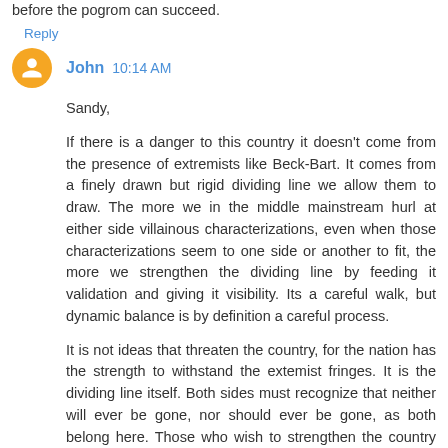before the pogrom can succeed.
Reply
John  10:14 AM
Sandy,

If there is a danger to this country it doesn't come from the presence of extremists like Beck-Bart. It comes from a finely drawn but rigid dividing line we allow them to draw. The more we in the middle mainstream hurl at either side villainous characterizations, even when those characterizations seem to one side or another to fit, the more we strengthen the dividing line by feeding it validation and giving it visibility. Its a careful walk, but dynamic balance is by definition a careful process.

It is not ideas that threaten the country, for the nation has the strength to withstand the extemist fringes. It is the dividing line itself. Both sides must recognize that neither will ever be gone, nor should ever be gone, as both belong here. Those who wish to strengthen the country can be